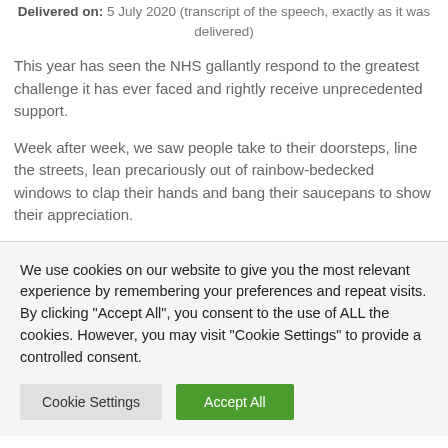Delivered on: 5 July 2020 (transcript of the speech, exactly as it was delivered)
This year has seen the NHS gallantly respond to the greatest challenge it has ever faced and rightly receive unprecedented support.
Week after week, we saw people take to their doorsteps, line the streets, lean precariously out of rainbow-bedecked windows to clap their hands and bang their saucepans to show their appreciation.
We use cookies on our website to give you the most relevant experience by remembering your preferences and repeat visits. By clicking "Accept All", you consent to the use of ALL the cookies. However, you may visit "Cookie Settings" to provide a controlled consent.